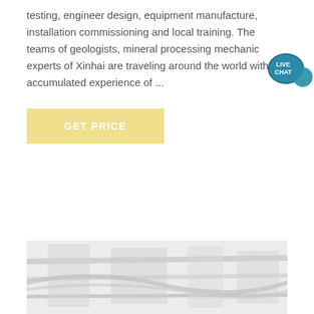testing, engineer design, equipment manufacture, installation commissioning and local training. The teams of geologists, mineral processing mechanic experts of Xinhai are traveling around the world with accumulated experience of ...
[Figure (other): Live Chat speech bubble badge icon in teal/dark blue colors with text LIVE CHAT]
GET PRICE
[Figure (photo): Faded/light photograph of industrial or engineering equipment, appears to show machinery or control panels]